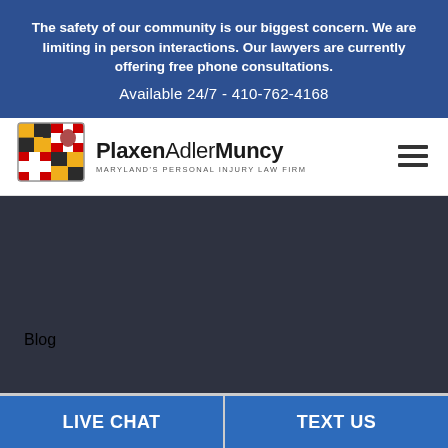The safety of our community is our biggest concern. We are limiting in person interactions. Our lawyers are currently offering free phone consultations.
Available 24/7 - 410-762-4168
[Figure (logo): PlaxenAdlerMuncy — Maryland's Personal Injury Law Firm logo with Maryland state flag shield icon]
Blog
LIVE CHAT | TEXT US